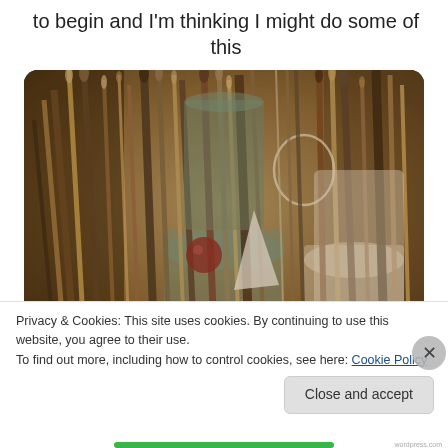to begin and I'm thinking I might do some of this
[Figure (photo): A photo of many artist paintbrushes and art tools packed densely into containers, viewed from above at an angle. The brushes vary in size and type, with colorful paint-stained handles.]
Privacy & Cookies: This site uses cookies. By continuing to use this website, you agree to their use.
To find out more, including how to control cookies, see here: Cookie Policy
Close and accept